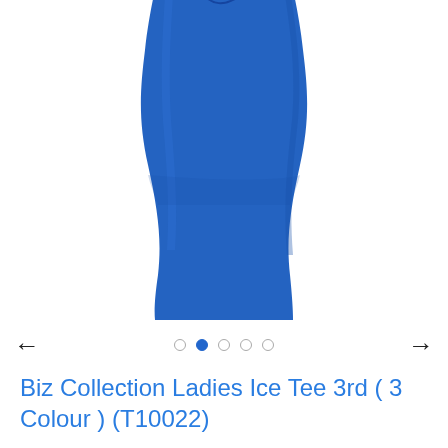[Figure (photo): A royal blue ladies fitted t-shirt (tank top style) shown from the front, cropped at the top showing only the torso/body of the garment on a white background.]
← ○ ● ○ ○ ○ →
Biz Collection Ladies Ice Tee 3rd ( 3 Colour ) (T10022)